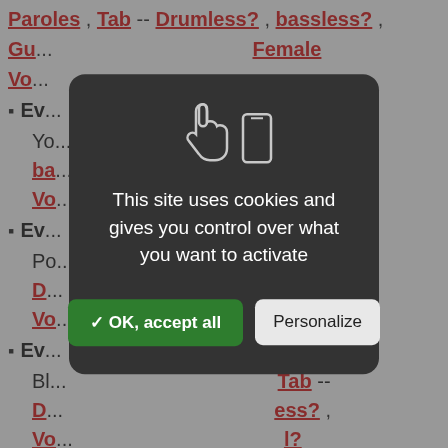Paroles , Tab -- Drumless? , bassless? ,
Gu... Female Vo...
Ev... => Sur Yo... less? , ba... , Male Vo...
Ev... c / The Po... Tab -- D... less? , Vo... l?
Ev... e / The Bl... , Tab -- D... ess? , Vo... l?
Everything I Miss At Home / Cherrelle => Sur
[Figure (screenshot): Cookie consent modal dialog with dark background (#333). Shows two icons (hand pointer and mobile phone) at top center. Text reads: 'This site uses cookies and gives you control over what you want to activate'. Two buttons: green 'OK, accept all' and light gray 'Personalize'.]